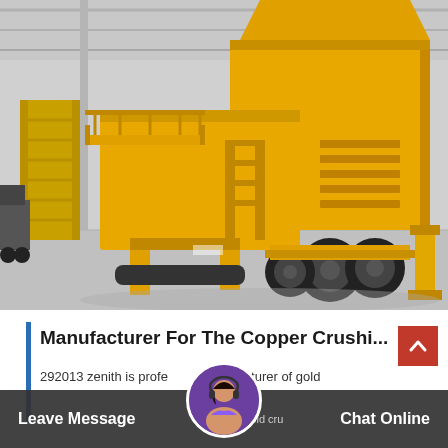[Figure (photo): Large yellow mobile copper crushing machine/equipment on wheels, photographed in an industrial warehouse with metal roof structure. The machine is bright yellow with black tires, access ladders, and a hopper on top.]
Manufacturer For The Copper Crushi...
292013 zenith is professional manufacturer of gold Leave Message world leading gold crushing Chat Online